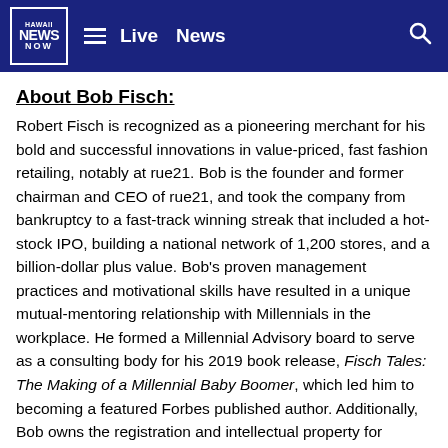Hawaii News Now — Live  News
About Bob Fisch:
Robert Fisch is recognized as a pioneering merchant for his bold and successful innovations in value-priced, fast fashion retailing, notably at rue21. Bob is the founder and former chairman and CEO of rue21, and took the company from bankruptcy to a fast-track winning streak that included a hot-stock IPO, building a national network of 1,200 stores, and a billion-dollar plus value. Bob's proven management practices and motivational skills have resulted in a unique mutual-mentoring relationship with Millennials in the workplace. He formed a Millennial Advisory board to serve as a consulting body for his 2019 book release, Fisch Tales: The Making of a Millennial Baby Boomer, which led him to becoming a featured Forbes published author. Additionally, Bob owns the registration and intellectual property for Millennial Baby Boomer (MBB) and is continuing to build on this brand. Bob is currently